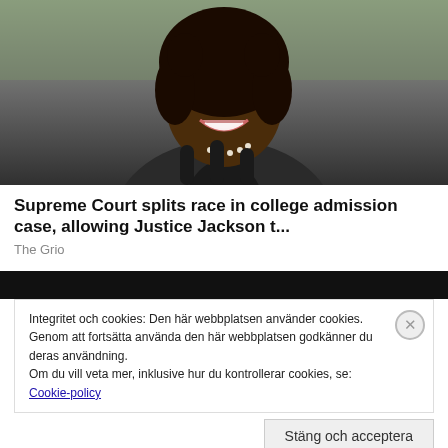[Figure (photo): Photo of a smiling Black woman with curly hair, glasses, and a pearl necklace, wearing a dark blazer, standing in front of microphones outdoors.]
Supreme Court splits race in college admission case, allowing Justice Jackson t...
The Grio
Integritet och cookies: Den här webbplatsen använder cookies. Genom att fortsätta använda den här webbplatsen godkänner du deras användning.
Om du vill veta mer, inklusive hur du kontrollerar cookies, se: Cookie-policy
Stäng och acceptera